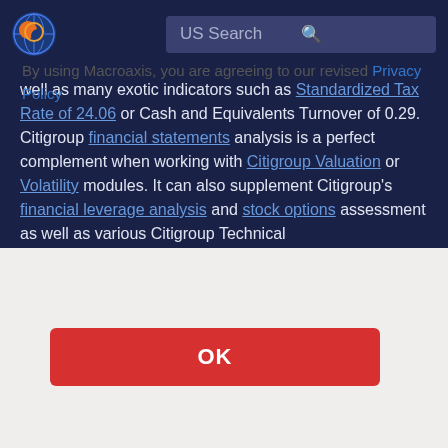US Search
well as many exotic indicators such as Standardized Tax Rate of 24.06 or Cash and Equivalents Turnover of 0.29. Citigroup financial statements analysis is a perfect complement when working with Citigroup Valuation or Volatility modules. It can also supplement Citigroup's financial leverage analysis and stock options assessment as well as various Citigroup Technical
By using Macroaxis, you are agreeing to our revised Privacy Policy
OK